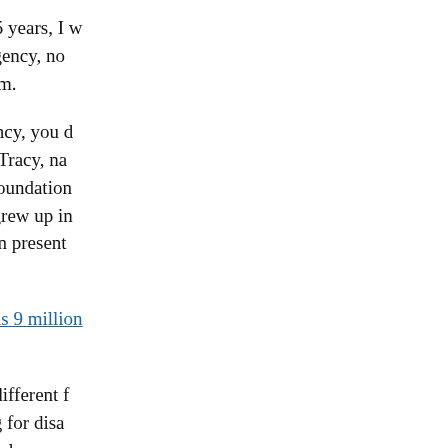Although I have lived here for 15 years, I would always be prepared for an emergency, not just when meteorologists predict a bad storm.
“If you stay ready for an emergency, you don’t have to turn around and get ready,” says Tim Tracy, naturalist and trainer for Groundworks, a foundation based in Virginia Beach, Virginia. Tracy grew up in rural areas and knows that country living can present unique challenges in emergencies.
Don’t miss: Global pollution kills 9 million a year, study finds
While some of these tips are no different from those living in an urban area, preparing for disaster in a rural is especially important because help may take longer and more densely populated areas are likely to be a priority for rescuers.
10 steps to prepare for disaster in a rural area:
1. Know your risk. “Understand which em...